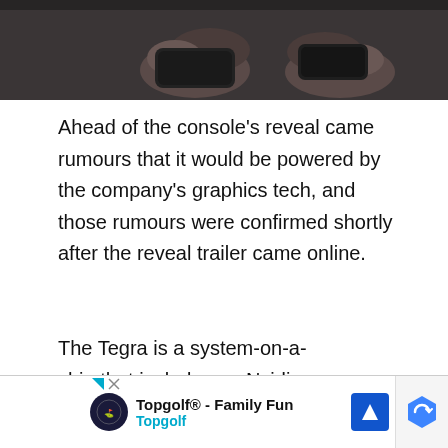[Figure (photo): Two people holding game controllers, screenshot from a video or article about Nintendo Switch]
Ahead of the console's reveal came rumours that it would be powered by the company's graphics tech, and those rumours were confirmed shortly after the reveal trailer came online.
The Tegra is a system-on-a-chip that includes an Nvidia processing unit. It features multiple processors, and can be found in a number of smartphones and,
[Figure (other): Topgolf advertisement banner with logo, text 'Topgolf® - Family Fun', navigation arrow icon, and Topgolf brand name]